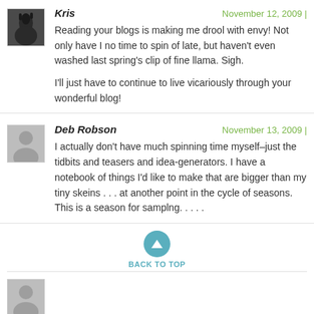[Figure (photo): Small avatar image of a llama (dark animal photo)]
Kris
November 12, 2009 |
Reading your blogs is making me drool with envy! Not only have I no time to spin of late, but haven't even washed last spring's clip of fine llama. Sigh.

I'll just have to continue to live vicariously through your wonderful blog!
[Figure (photo): Generic grey person silhouette avatar]
Deb Robson
November 13, 2009 |
I actually don't have much spinning time myself–just the tidbits and teasers and idea-generators. I have a notebook of things I'd like to make that are bigger than my tiny skeins . . . at another point in the cycle of seasons. This is a season for samplng. . . . .
BACK TO TOP
[Figure (photo): Partial generic grey person silhouette avatar at bottom]